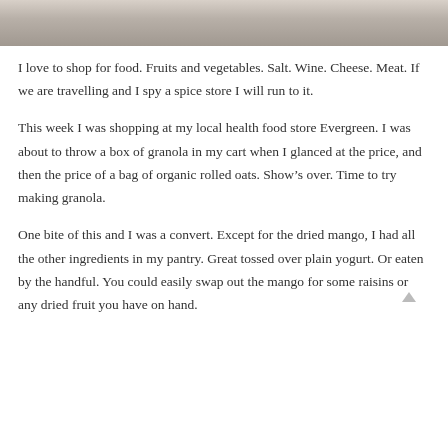[Figure (photo): Partial view of a food dish on a plate, cropped at top of page]
I love to shop for food. Fruits and vegetables. Salt. Wine. Cheese. Meat. If we are travelling and I spy a spice store I will run to it.
This week I was shopping at my local health food store Evergreen. I was about to throw a box of granola in my cart when I glanced at the price, and then the price of a bag of organic rolled oats. Show’s over. Time to try making granola.
One bite of this and I was a convert. Except for the dried mango, I had all the other ingredients in my pantry. Great tossed over plain yogurt. Or eaten by the handful. You could easily swap out the mango for some raisins or any dried fruit you have on hand.